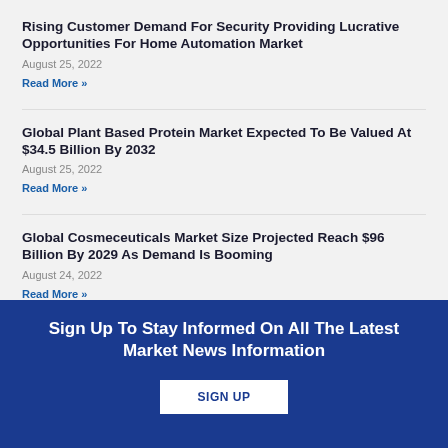Rising Customer Demand For Security Providing Lucrative Opportunities For Home Automation Market
August 25, 2022
Read More »
Global Plant Based Protein Market Expected To Be Valued At $34.5 Billion By 2032
August 25, 2022
Read More »
Global Cosmeceuticals Market Size Projected Reach $96 Billion By 2029 As Demand Is Booming
August 24, 2022
Read More »
CBD Oil Market To Hit Nearly US$137 Billion By 2029
August 23, 2022
Read More »
Sign Up To Stay Informed On All The Latest Market News Information